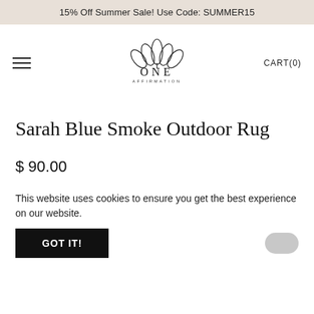15% Off Summer Sale! Use Code: SUMMER15
[Figure (logo): One Affirmation lotus flower logo with text ONE AFFIRMATION below]
CART(0)
Sarah Blue Smoke Outdoor Rug
$ 90.00
This website uses cookies to ensure you get the best experience on our website.
GOT IT!